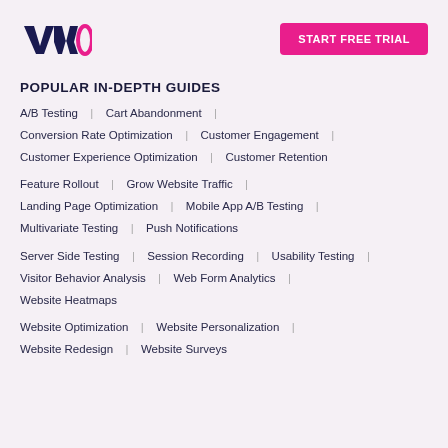[Figure (logo): VWO logo in dark navy and magenta]
START FREE TRIAL
POPULAR IN-DEPTH GUIDES
A/B Testing  |  Cart Abandonment  |
Conversion Rate Optimization  |  Customer Engagement  |
Customer Experience Optimization  |  Customer Retention
Feature Rollout  |  Grow Website Traffic  |
Landing Page Optimization  |  Mobile App A/B Testing  |
Multivariate Testing  |  Push Notifications
Server Side Testing  |  Session Recording  |  Usability Testing  |
Visitor Behavior Analysis  |  Web Form Analytics  |
Website Heatmaps
Website Optimization  |  Website Personalization  |
Website Redesign  |  Website Surveys